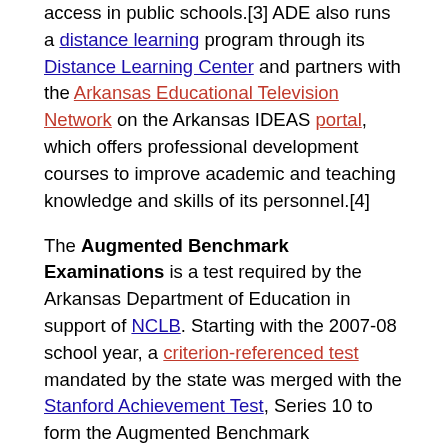access in public schools.[3] ADE also runs a distance learning program through its Distance Learning Center and partners with the Arkansas Educational Television Network on the Arkansas IDEAS portal, which offers professional development courses to improve academic and teaching knowledge and skills of its personnel.[4]
The Augmented Benchmark Examinations is a test required by the Arkansas Department of Education in support of NCLB. Starting with the 2007-08 school year, a criterion-referenced test mandated by the state was merged with the Stanford Achievement Test, Series 10 to form the Augmented Benchmark Examinations. It is administered in grades 3-8 in ELA and mathematics, additionally, grades 5 and 7 are tested in science.[5]
In support of the requirements for No Child Left Behind